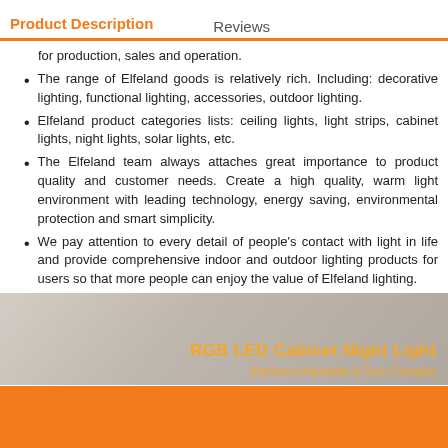Product Description   Reviews
for production, sales and operation.
The range of Elfeland goods is relatively rich. Including: decorative lighting, functional lighting, accessories, outdoor lighting.
Elfeland product categories lists: ceiling lights, light strips, cabinet lights, night lights, solar lights, etc.
The Elfeland team always attaches great importance to product quality and customer needs. Create a high quality, warm light environment with leading technology, energy saving, environmental protection and smart simplicity.
We pay attention to every detail of people's contact with light in life and provide comprehensive indoor and outdoor lighting products for users so that more people can enjoy the value of Elfeland lighting.
[Figure (photo): Product image showing RGB LED Cabinet Night Light with text overlay: 'RGB LED Cabinet Night Light' and 'Brightness Adjustable & Color Changing']